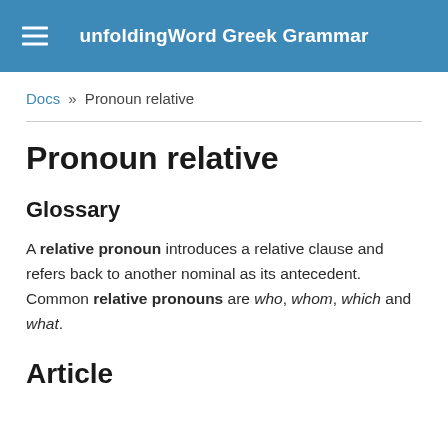unfoldingWord Greek Grammar
Docs » Pronoun relative
Pronoun relative
Glossary
A relative pronoun introduces a relative clause and refers back to another nominal as its antecedent. Common relative pronouns are who, whom, which and what.
Article